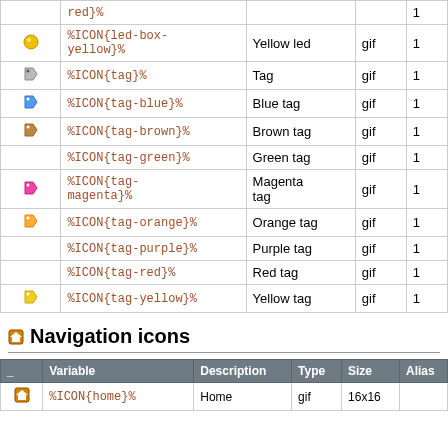|  | Variable | Description | Type | Size | Alias |
| --- | --- | --- | --- | --- | --- |
|  | red}% |  |  |  | 1 |
| [yellow-led-icon] | %ICON{led-box-yellow}% | Yellow led | gif |  | 1 |
| [tag-icon] | %ICON{tag}% | Tag | gif |  | 1 |
| [tag-blue-icon] | %ICON{tag-blue}% | Blue tag | gif |  | 1 |
| [tag-brown-icon] | %ICON{tag-brown}% | Brown tag | gif |  | 1 |
|  | %ICON{tag-green}% | Green tag | gif |  | 1 |
| [tag-magenta-icon] | %ICON{tag-magenta}% | Magenta tag | gif |  | 1 |
| [tag-orange-icon] | %ICON{tag-orange}% | Orange tag | gif |  | 1 |
|  | %ICON{tag-purple}% | Purple tag | gif |  | 1 |
|  | %ICON{tag-red}% | Red tag | gif |  | 1 |
| [tag-yellow-icon] | %ICON{tag-yellow}% | Yellow tag | gif |  | 1 |
Navigation icons
|  | Variable | Description | Type | Size | Alias |
| --- | --- | --- | --- | --- | --- |
| [home-icon] | %ICON{home}% | Home | gif | 16x16 |  |